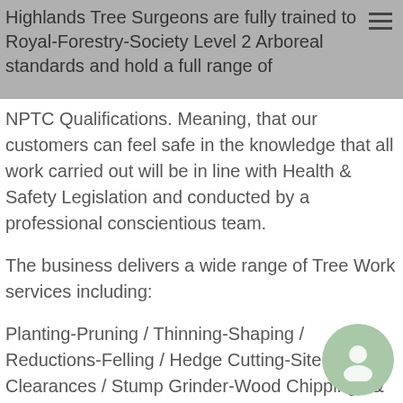Highlands Tree Surgeons are fully trained to Royal-Forestry-Society Level 2 Arboreal standards and hold a full range of
NPTC Qualifications. Meaning, that our customers can feel safe in the knowledge that all work carried out will be in line with Health & Safety Legislation and conducted by a professional conscientious team.
The business delivers a wide range of Tree Work services including:
Planting-Pruning / Thinning-Shaping / Reductions-Felling / Hedge Cutting-Site Clearances / Stump Grinder-Wood Chipping / & much much more…
1. Full Public Liability Insurance
2. Free Quotes/E-mail-